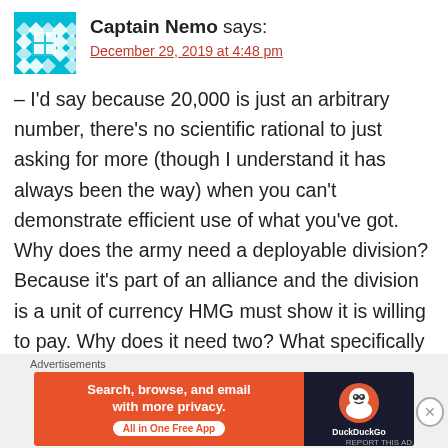Captain Nemo says:
December 29, 2019 at 4:48 pm
– I'd say because 20,000 is just an arbitrary number, there's no scientific rational to just asking for more (though I understand it has always been the way) when you can't demonstrate efficient use of what you've got. Why does the army need a deployable division? Because it's part of an alliance and the division is a unit of currency HMG must show it is willing to pay. Why does it need two? What specifically can it do with two that it can't
Advertisements
[Figure (infographic): DuckDuckGo advertisement banner: orange left side with text 'Search, browse, and email with more privacy. All in One Free App' and dark right side with DuckDuckGo logo]